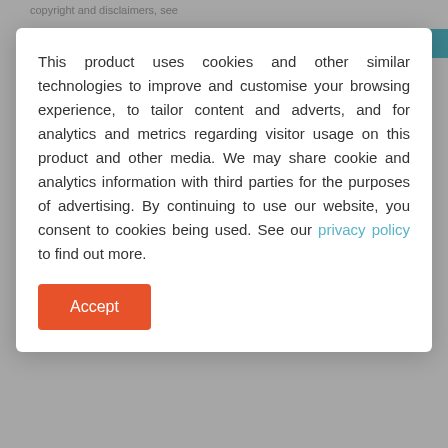copyright and disclaimers, see
Primary | 1-6
Dickson College
Dickson 2602
Secondary | 7 - 12 | Co-Ed | 851 Students
Private Schools:
Emmaus Christian School
This product uses cookies and other similar technologies to improve and customise your browsing experience, to tailor content and adverts, and for analytics and metrics regarding visitor usage on this product and other media. We may share cookie and analytics information with third parties for the purposes of advertising. By continuing to use our website, you consent to cookies being used. See our privacy policy to find out more.